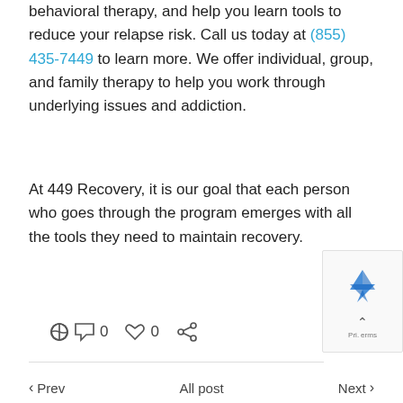behavioral therapy, and help you learn tools to reduce your relapse risk. Call us today at (855) 435-7449 to learn more. We offer individual, group, and family therapy to help you work through underlying issues and addiction.
At 449 Recovery, it is our goal that each person who goes through the program emerges with all the tools they need to maintain recovery.
0  0  [share icon]
< Prev   All post   Next >